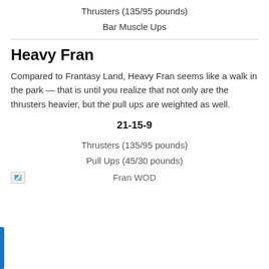Thrusters (135/95 pounds)
Bar Muscle Ups
Heavy Fran
Compared to Frantasy Land, Heavy Fran seems like a walk in the park — that is until you realize that not only are the thrusters heavier, but the pull ups are weighted as well.
21-15-9
Thrusters (135/95 pounds)
Pull Ups (45/30 pounds)
Fran WOD